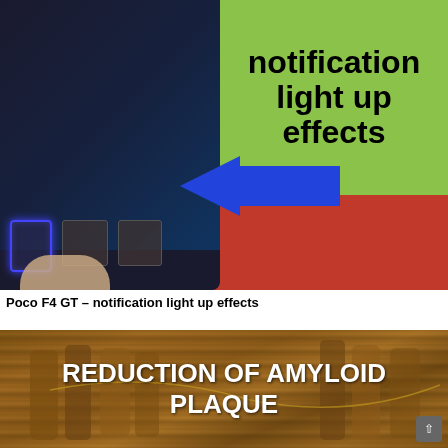[Figure (screenshot): Screenshot of a smartphone (Poco F4 GT) held in hand showing notification light up effects on its back panel buttons, with a green overlay box showing bold text 'notification light up effects' and a blue arrow pointing to the illuminated buttons, on a red background.]
Poco F4 GT – notification light up effects
[Figure (photo): Photo of dried cinnamon sticks on a wooden surface with bold white text overlay reading 'REDUCTION OF AMYLOID PLAQUE'.]